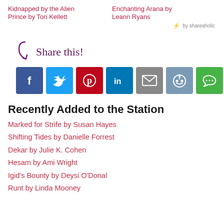Kidnapped by the Alien Prince by Tori Kellett
Enchanting Arana by Leann Ryans
⚡ by shareaholic
[Figure (infographic): Share this! section with arrow icon and 7 social media share buttons: Facebook (blue), Twitter (light blue), Pinterest (red), LinkedIn (blue), Email (grey), Reddit (steel blue), More (green)]
Recently Added to the Station
Marked for Strife by Susan Hayes
Shifting Tides by Danielle Forrest
Dekar by Julie K. Cohen
Hesam by Ami Wright
Igid's Bounty by Deysi O'Donal
Runt by Linda Mooney